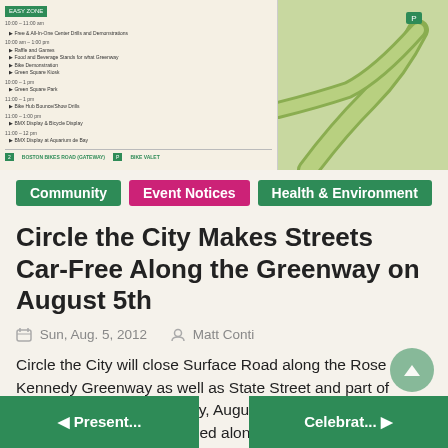[Figure (map): A map/schedule image showing a street event route along the Rose Kennedy Greenway with an event schedule on the left panel and a green map area on the right.]
Community
Event Notices
Health & Environment
Circle the City Makes Streets Car-Free Along the Greenway on August 5th
Sun, Aug. 5, 2012   Matt Conti
Circle the City will close Surface Road along the Rose Kennedy Greenway as well as State Street and part of Congress Street on Sunday, August 5, 2012 from 10am – 1pm. Activities are scheduled along the route geared toward fitness, biking, scavenger hunt and green living. See the map and schedule below and the pdf
Read More...
Present...    Celebrat...